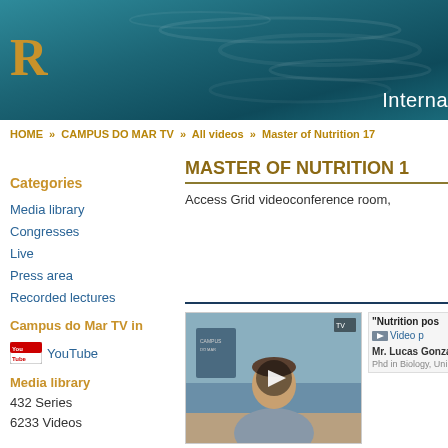[Figure (screenshot): Website header banner with teal/blue water texture background, large orange-gold letter R on left, and 'Interna' text on right in white]
HOME » CAMPUS DO MAR TV » All videos » Master of Nutrition 17
Categories
Media library
Congresses
Live
Press area
Recorded lectures
Campus do Mar TV in
YouTube
Media library
432 Series
6233 Videos
MASTER OF NUTRITION 1
Access Grid videoconference room,
[Figure (screenshot): Video thumbnail showing a man sitting at a desk in front of a blue wall, with a play button overlay]
"Nutrition pos
Video p
Mr. Lucas González
Phd in Biology, Uni